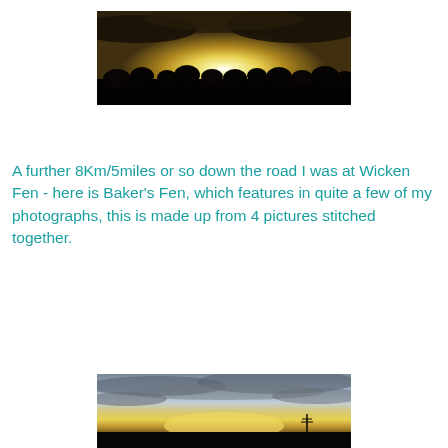[Figure (photo): Panoramic sunset photograph showing silhouetted treeline against a bright glowing sky with dark clouds above and below the bright sun]
A further 8Km/5miles or so down the road I was at Wicken Fen - here is Baker's Fen, which features in quite a few of my photographs, this is made up from 4 pictures stitched together.
[Figure (photo): Panoramic landscape photograph of Baker's Fen at dusk showing dramatic cloudy sky with golden light near the horizon and dark flat fenland below]